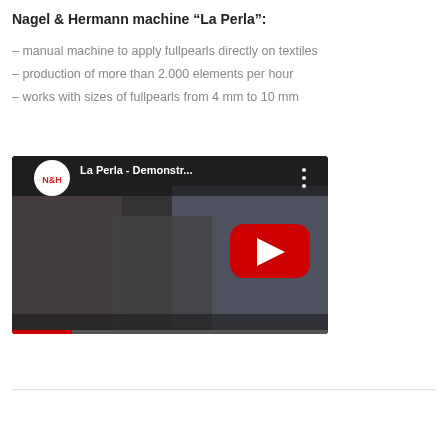Nagel & Hermann machine “La Perla”:
– manual machine to apply fullpearls directly on textiles
– production of more than 2.000 elements per hour
– works with sizes of fullpearls from 4 mm to 10 mm
[Figure (screenshot): YouTube video thumbnail showing La Perla - Demonstr... with two people standing near a machine, N&H logo in top left corner, red play button in center]